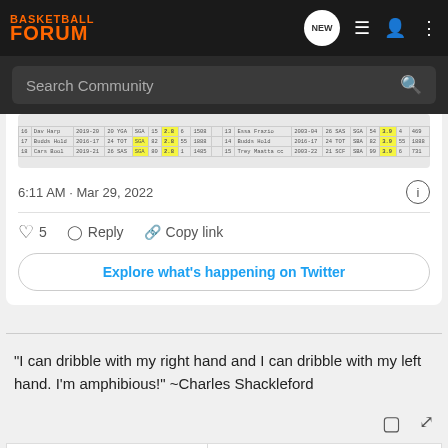BASKETBALL FORUM
Search Community
[Figure (screenshot): Embedded tweet screenshot showing a basketball statistics table with rows 16-18 on the left side and rows 13-15 on the right side, with yellow highlighted cells in the 5th column.]
6:11 AM · Mar 29, 2022
5  Reply  Copy link
Explore what's happening on Twitter
"I can dribble with my right hand and I can dribble with my left hand. I'm amphibious!" ~Charles Shackleford
[Figure (infographic): Advertisement banner for Saks with free shipping & returns offer and Stone Island product at $225.00]